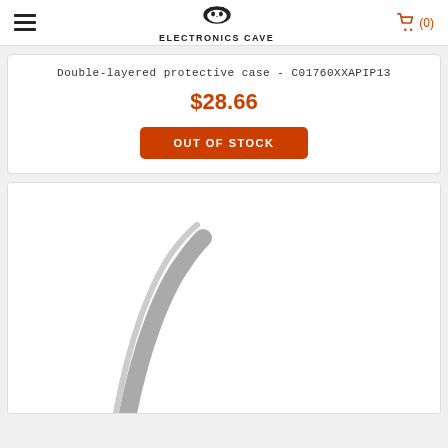Electronics Cave
Double-layered protective case - C01760XXAPIP13
$28.66
OUT OF STOCK
[Figure (photo): Partial product image showing edge of a curved protective case on white background]